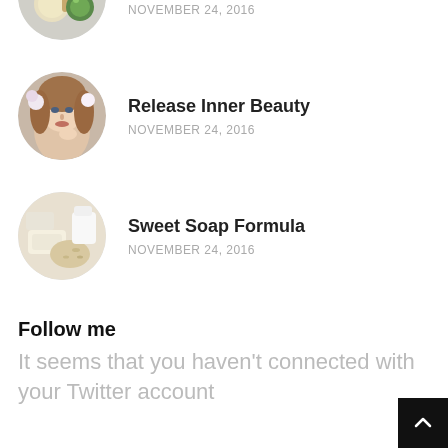[Figure (photo): Circular thumbnail image of homemade makeup supplies (bowls, brush, lemon)]
Homemade Makeup
NOVEMBER 24, 2016
[Figure (photo): Circular thumbnail of a woman with flowers in her hair]
Release Inner Beauty
NOVEMBER 24, 2016
[Figure (photo): Circular thumbnail of soap bars with oats and milk]
Sweet Soap Formula
NOVEMBER 24, 2016
Follow me
It seems that you haven't connected with your Twitter account